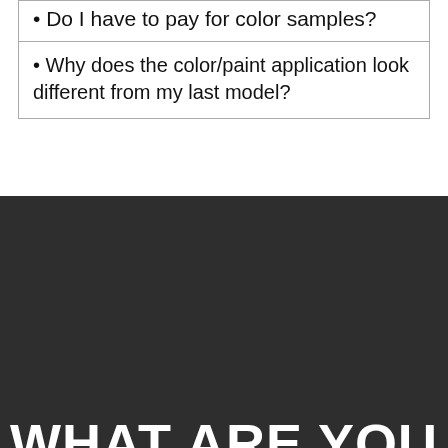• Do I have to pay for color samples?
• Why does the color/paint application look different from my last model?
WHAT ARE YOU PACKING?
[Figure (illustration): Dark footer section with envelope icon (email), up-arrow icon, phone icon, shopping bag icon, and links for RETURNS / EXCHANGES and FILE A CLAIM]
RETURNS / EXCHANGES
FILE A CLAIM